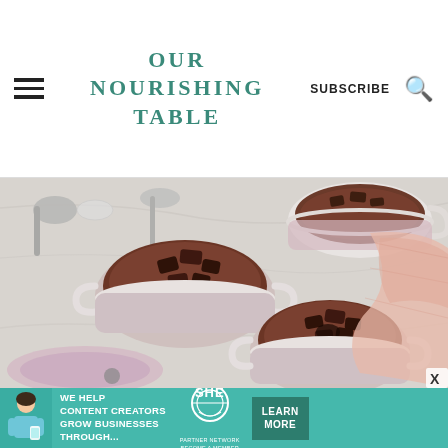Our Nourishing Table
[Figure (photo): Overhead flatlay photo of three white ceramic ramekins filled with baked chocolate cakes topped with chocolate chunks, alongside silver spoons and a pink linen napkin on a marble surface]
[Figure (photo): SHE Partner Network advertisement banner: 'We help content creators grow businesses through... Learn More']